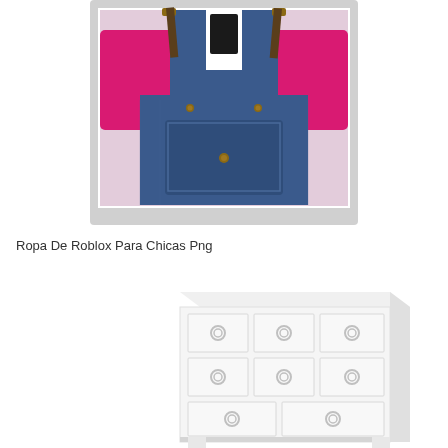[Figure (photo): Photo of children's denim overalls with pink long-sleeve shirt, shown inside a light gray polaroid-style frame/border. The overalls are dark blue denim with button details and a front pocket.]
Ropa De Roblox Para Chicas Png
[Figure (photo): Photo of a white wooden dresser/chest of drawers with multiple drawers featuring circular ring pulls. The dresser appears to be a children's or bedroom furniture piece with a white painted finish.]